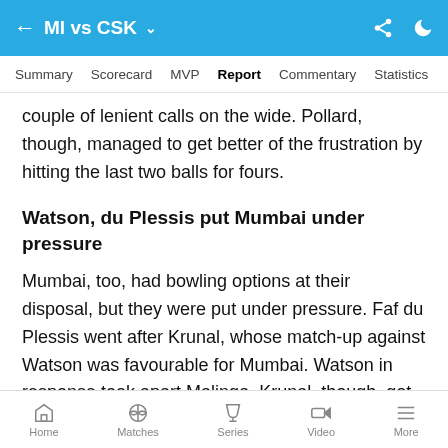MI vs CSK
Summary  Scorecard  MVP  Report  Commentary  Statistics
couple of lenient calls on the wide. Pollard, though, managed to get better of the frustration by hitting the last two balls for fours.
Watson, du Plessis put Mumbai under pressure
Mumbai, too, had bowling options at their disposal, but they were put under pressure. Faf du Plessis went after Krunal, whose match-up against Watson was favourable for Mumbai. Watson in response took apart Malinga. Krunal, though, got du Plessis stumped with a wide delivery. However, at 53 for 1 at the end of the
Home  Matches  Series  Video  More